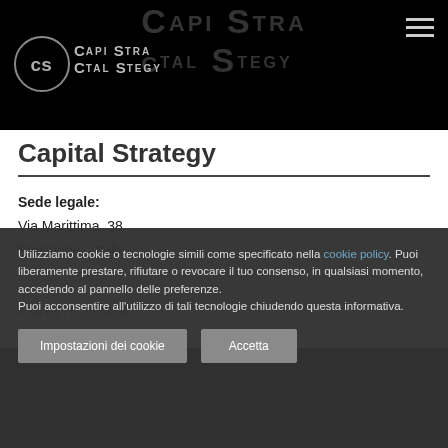Capital Strategy - CAPI TAL STEGY logo header
Capital Strategy
Sede legale:
Via Marittima, 38
Frosinone – Italia
+39 0775 253459
Utilizziamo cookie o tecnologie simili come specificato nella cookie policy. Puoi liberamente prestare, rifiutare o revocare il tuo consenso, in qualsiasi momento, accedendo al pannello delle preferenze.
Puoi acconsentire all'utilizzo di tali tecnologie chiudendo questa informativa.
Impostazioni dei cookie | Accetta